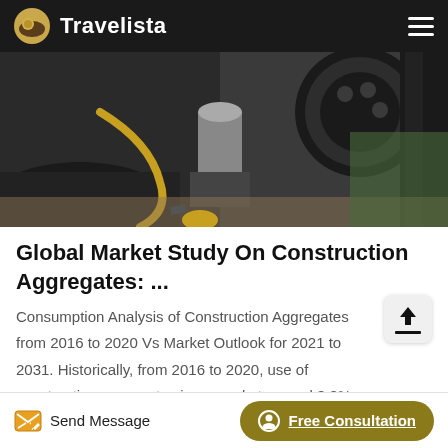Travelista
[Figure (photo): Close-up photo of industrial/construction machinery parts including pulleys, belts, hoses and metal components on a workshop floor]
Global Market Study On Construction Aggregates: ...
Consumption Analysis of Construction Aggregates from 2016 to 2020 Vs Market Outlook for 2021 to 2031. Historically, from 2016 to 2020, use of construction aggregates increased at around 3.8% CAGR, owing to rising demand from the ever-expanding construction
Send Message   Free Consultation